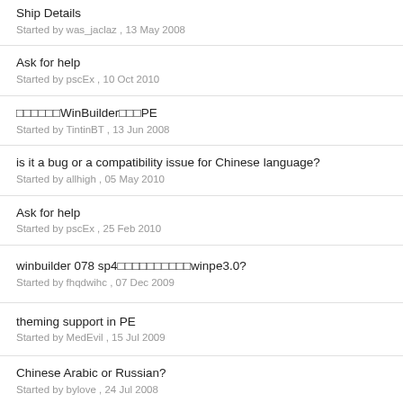Ship Details
Started by was_jaclaz , 13 May 2008
Ask for help
Started by pscEx , 10 Oct 2010
□□□□□□WinBuilder□□□PE
Started by TintinBT , 13 Jun 2008
is it a bug or a compatibility issue for Chinese language?
Started by allhigh , 05 May 2010
Ask for help
Started by pscEx , 25 Feb 2010
winbuilder 078 sp4□□□□□□□□□□winpe3.0?
Started by fhqdwihc , 07 Dec 2009
theming support in PE
Started by MedEvil , 15 Jul 2009
Chinese Arabic or Russian?
Started by bylove , 24 Jul 2008